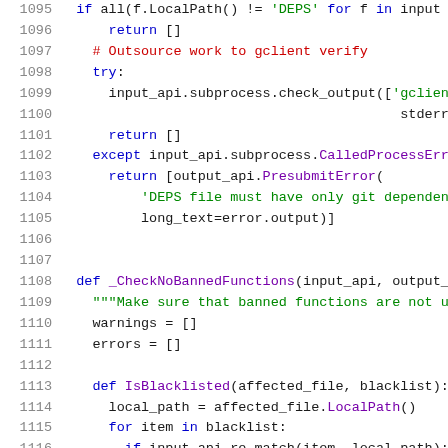[Figure (screenshot): Python source code snippet showing lines 1095-1116, with syntax highlighting. Keywords in blue, strings in green, comments in red, method/class names in purple.]